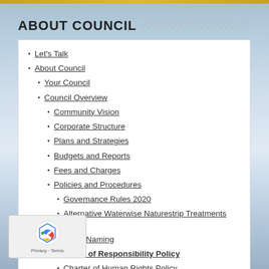ABOUT COUNCIL
Let's Talk
About Council
Your Council
Council Overview
Community Vision
Corporate Structure
Plans and Strategies
Budgets and Reports
Fees and Charges
Policies and Procedures
Governance Rules 2020
Alternative Waterwise Naturestrip Treatments Policy
Asset Naming
Chain of Responsibility Policy
Charter of Human Rights Policy
Child Safe Policy
Citizenship Ceremony Dress Code
Closed Circuit Television Policy
Community and Events Grants Policy
Community Care Services - Home...